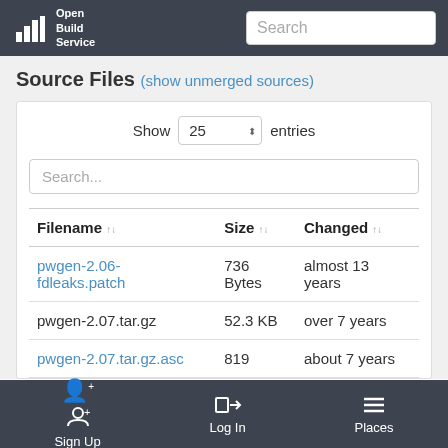Open Build Service
Source Files (show unmerged sources)
| Filename | Size | Changed |
| --- | --- | --- |
| pwgen-2.06-fdleaks.patch | 736 Bytes | almost 13 years |
| pwgen-2.07.tar.gz | 52.3 KB | over 7 years |
| pwgen-2.07.tar.gz.asc | 819 | about 7 years |
Sign Up  Log In  Places